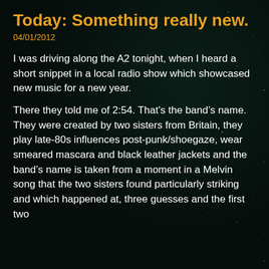Today: Something really new.
04/01/2012
I was driving along the A2 tonight, when I heard a short snippet in a local radio show which showcased new music for a new year.
There they told me of 2:54. That’s the band’s name.
They were created by two sisters from Britain, they play late-80s influences post-punk/shoegaze, wear smeared mascara and black leather jackets and the band’s name is taken from a moment in a Melvin song that the two sisters found particularly striking and which happened at, three guesses and the first two